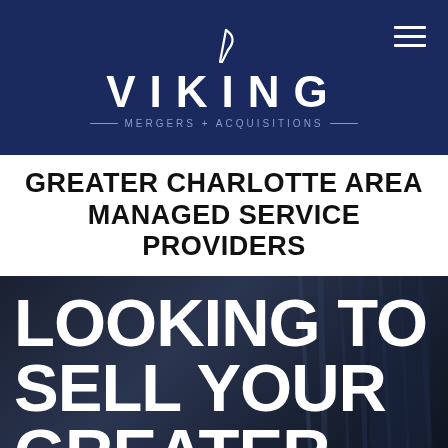[Figure (logo): Viking Mergers + Acquisitions logo on dark navy background with Viking mark symbol above wordmark and decorative lines flanking tagline]
GREATER CHARLOTTE AREA MANAGED SERVICE PROVIDERS
[Figure (photo): Dark background with large white bold text reading LOOKING TO SELL YOUR GREATER, overlaid on a dark server room or data center photo]